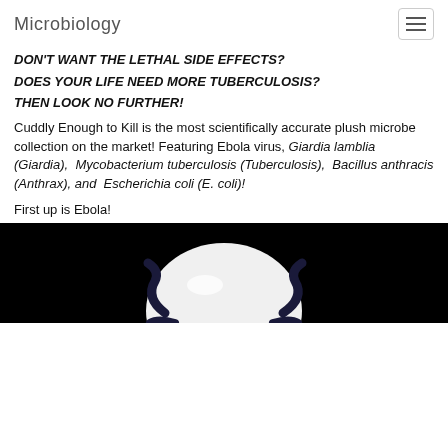Microbiology
DON'T WANT THE LETHAL SIDE EFFECTS?
DOES YOUR LIFE NEED MORE TUBERCULOSIS?
THEN LOOK NO FURTHER!
Cuddly Enough to Kill is the most scientifically accurate plush microbe collection on the market! Featuring Ebola virus, Giardia lamblia (Giardia), Mycobacterium tuberculosis (Tuberculosis), Bacillus anthracis (Anthrax), and Escherichia coli (E. coli)!
First up is Ebola!
[Figure (photo): Black background photo of a white round plush microbe toy (Ebola virus plush) with dark navy blue/black curved appendages on it, partially cropped at the bottom of the page.]